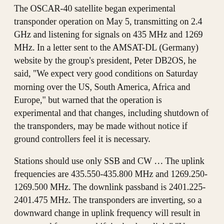The OSCAR-40 satellite began experimental transponder operation on May 5, transmitting on 2.4 GHz and listening for signals on 435 MHz and 1269 MHz. In a letter sent to the AMSAT-DL (Germany) website by the group's president, Peter DB2OS, he said, "We expect very good conditions on Saturday morning over the US, South America, Africa and Europe," but warned that the operation is experimental and that changes, including shutdown of the transponders, may be made without notice if ground controllers feel it is necessary.
Stations should use only SSB and CW … The uplink frequencies are 435.550-435.800 MHz and 1269.250-1269.500 MHz. The downlink passband is 2401.225-2401.475 MHz. The transponders are inverting, so a downward change in uplink frequency will result in an upward frequency shift in the downlink." "Users are asked to avoid the 'middle' 2.4 GHz telemetry beacon and give it a clearance of 5 kHz on either side. The transponder might be shut down if the beacon cannot